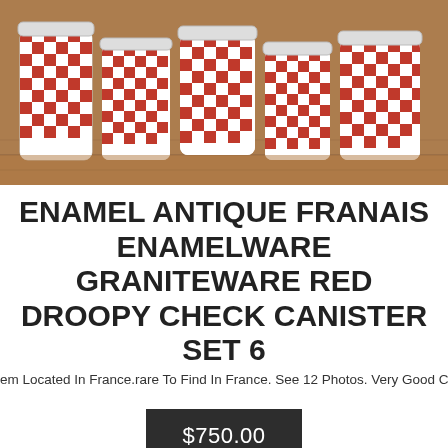[Figure (photo): Red and white checkered enamelware canister set arranged on a wooden surface, viewed from above/front. Multiple canisters with droopy check pattern in red and white.]
ENAMEL ANTIQUE FRANAIS ENAMELWARE GRANITEWARE RED DROOPY CHECK CANISTER SET 6
em Located In France.rare To Find In France. See 12 Photos. Very Good Conditio
$750.00
[Figure (photo): Partial view of a red and white enamelware canister or pot on a dark background.]